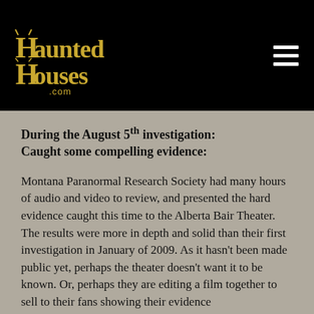[Figure (logo): HauntedHouses.com logo in gold/yellow gothic lettering on black background]
During the August 5th investigation: Caught some compelling evidence:
Montana Paranormal Research Society had many hours of audio and video to review, and presented the hard evidence caught this time to the Alberta Bair Theater. The results were more in depth and solid than their first investigation in January of 2009. As it hasn't been made public yet, perhaps the theater doesn't want it to be known. Or, perhaps they are editing a film together to sell to their fans showing their evidence